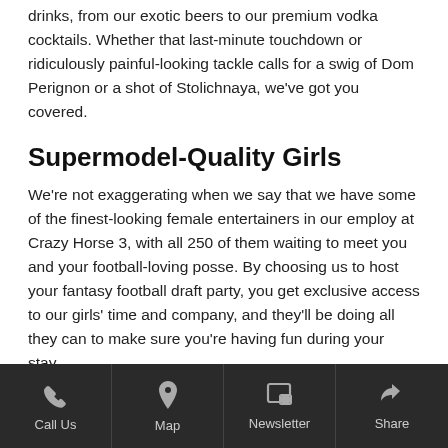drinks, from our exotic beers to our premium vodka cocktails. Whether that last-minute touchdown or ridiculously painful-looking tackle calls for a swig of Dom Perignon or a shot of Stolichnaya, we've got you covered.
Supermodel-Quality Girls
We're not exaggerating when we say that we have some of the finest-looking female entertainers in our employ at Crazy Horse 3, with all 250 of them waiting to meet you and your football-loving posse. By choosing us to host your fantasy football draft party, you get exclusive access to our girls' time and company, and they'll be doing all they can to make sure you're having fun during your stay.
If you're concerned about whether you'll actually be able to hold a conversation with them and not just spend the rest of the night in awkward silence, don't be—all of our girls
Call Us  Map  Newsletter  Share